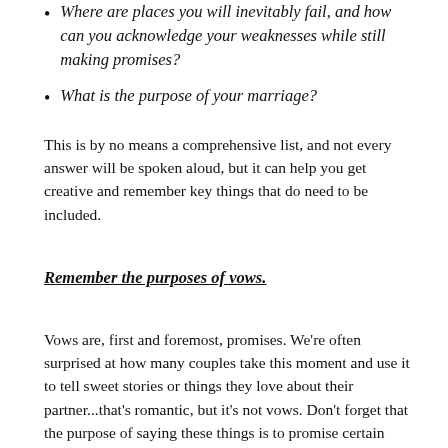Where are places you will inevitably fail, and how can you acknowledge your weaknesses while still making promises?
What is the purpose of your marriage?
This is by no means a comprehensive list, and not every answer will be spoken aloud, but it can help you get creative and remember key things that do need to be included.
Remember the purposes of vows.
Vows are, first and foremost, promises. We're often surprised at how many couples take this moment and use it to tell sweet stories or things they love about their partner...that's romantic, but it's not vows. Don't forget that the purpose of saying these things is to promise certain things to your partner, to pledge yourself to them, to speak a foundation that will last